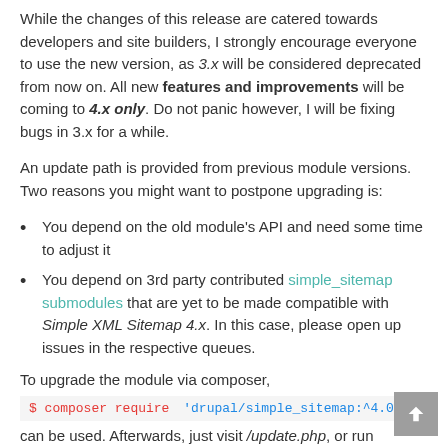While the changes of this release are catered towards developers and site builders, I strongly encourage everyone to use the new version, as 3.x will be considered deprecated from now on. All new features and improvements will be coming to 4.x only. Do not panic however, I will be fixing bugs in 3.x for a while.
An update path is provided from previous module versions. Two reasons you might want to postpone upgrading is:
You depend on the old module's API and need some time to adjust it
You depend on 3rd party contributed simple_sitemap submodules that are yet to be made compatible with Simple XML Sitemap 4.x. In this case, please open up issues in the respective queues.
To upgrade the module via composer, $ composer require 'drupal/simple_sitemap:^4.0' can be used. Afterwards, just visit /update.php, or run $ drush updb to update the module's storage.
Thanks for everyone who has been involved in the development of this tool. Enjoy!